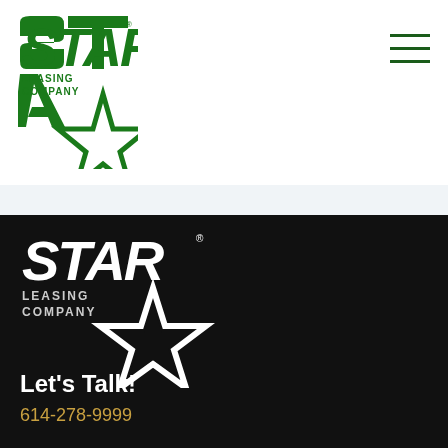[Figure (logo): Star Leasing Company logo in green, featuring stylized STAR text and a star shape cutout, on white background header]
[Figure (logo): Star Leasing Company logo in white, featuring stylized STAR text and a star shape cutout, on black background footer]
Let's Talk!
614-278-9999